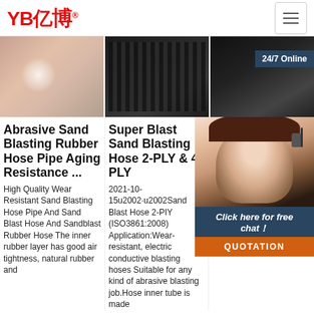YB亿博® [logo] with hamburger menu
[Figure (photo): Three product images in a row: left shows a close-up of rubber/skin texture with light reflection, middle shows black rubber hoses/cables, right shows dark industrial setting with '24/7 Online' badge overlaid]
Abrasive Sand Blasting Rubber Hose Pipe Aging Resistance ...
High Quality Wear Resistant Sand Blasting Hose Pipe And Sand Blast Hose And Sandblast Rubber Hose The inner rubber layer has good air tightness, natural rubber and
Super Blast Sand Blasting Hose 2-PLY & 4-PLY
2021-10-15u2002·u2002Sand Blast Hose 2-PIY (ISO3861:2008) Application:Wear-resistant, electric conductive blasting hoses Suitable for any kind of abrasive blasting job.Hose inner tube is made
Ch Sa Ru Ma & S
The rub high-quality tape or cord as the reinforcing layer, which has good flexibility and strong pressure bearing capacity; the steel blasting pipe is
[Figure (photo): Customer service agent woman wearing headset smiling, with '24/7 Online' dark blue badge, 'Click here for free chat!' overlay and orange QUOTATION button]